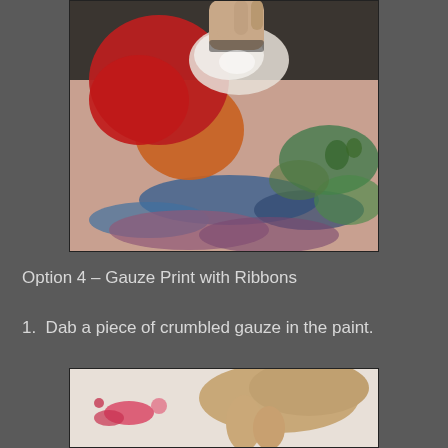[Figure (photo): Child's hand pressing paint-covered gauze or cloth onto a colorful painted surface with red, orange, blue, green, and purple paint smears and handprints.]
Option 4 – Gauze Print with Ribbons
1.  Dab a piece of crumbled gauze in the paint.
[Figure (photo): Close-up view of a hand near a white surface with pink/red paint marks, beginning of a gauze printing activity.]